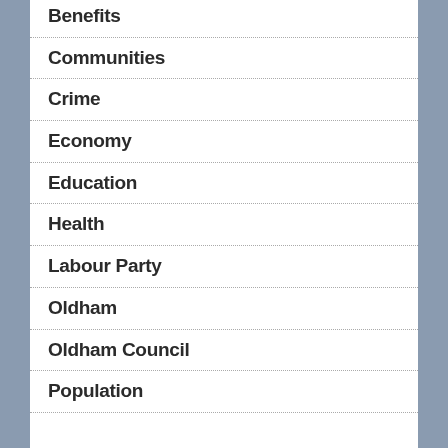Benefits
Communities
Crime
Economy
Education
Health
Labour Party
Oldham
Oldham Council
Population